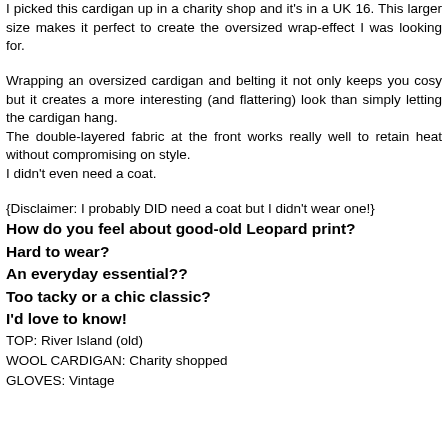I picked this cardigan up in a charity shop and it's in a UK 16. This larger size makes it perfect to create the oversized wrap-effect I was looking for.
Wrapping an oversized cardigan and belting it not only keeps you cosy but it creates a more interesting (and flattering) look than simply letting the cardigan hang. The double-layered fabric at the front works really well to retain heat without compromising on style. I didn't even need a coat.
{Disclaimer: I probably DID need a coat but I didn't wear one!}
How do you feel about good-old Leopard print?
Hard to wear?
An everyday essential??
Too tacky or a chic classic?
I'd love to know!
TOP: River Island (old)
WOOL CARDIGAN: Charity shopped
GLOVES: Vintage